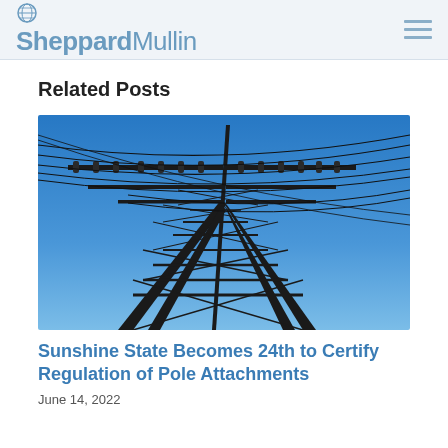SheppardMullin
Related Posts
[Figure (photo): Photograph of a high-voltage electricity transmission tower (pylon) with power lines against a clear blue sky, silhouetted in dark tones.]
Sunshine State Becomes 24th to Certify Regulation of Pole Attachments
June 14, 2022